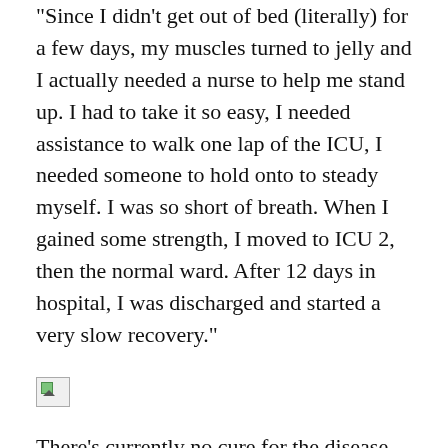“Since I didn’t get out of bed (literally) for a few days, my muscles turned to jelly and I actually needed a nurse to help me stand up. I had to take it so easy, I needed assistance to walk one lap of the ICU, I needed someone to hold onto to steady myself. I was so short of breath. When I gained some strength, I moved to ICU 2, then the normal ward. After 12 days in hospital, I was discharged and started a very slow recovery.”
[Figure (photo): Broken/missing image placeholder]
There’s currently no cure for the disease that affects one in every 600 Aussies, but most sufferers manage their symptoms through lifestyle changes and medication.
“Food, exercise and sleep play a major role in how active my lupus is,” Giselle says.
“I eat a ‘clean’ diet (gluten free, low sugar and low dairy) and I exercise every day (walking and yoga). If I don’t eat well, don’t exercise and don’t get enough sleep, then I